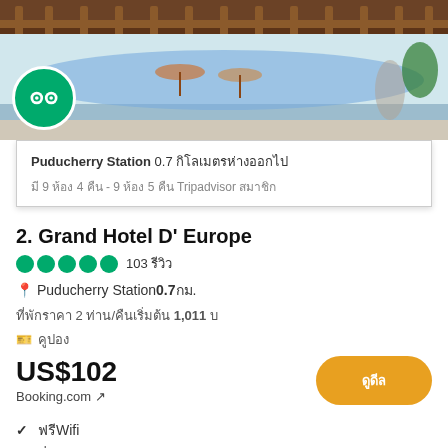[Figure (photo): Hotel interior photo showing a pool area with wooden railings/balconies above and a mural depicting a coastal scene]
Puducherry Station 0.7 กิโลเมตร
มี 9 ห้อง 4 คืน - 9 ห้อง 5 คืน Tripadvisor สมาชิก
2. Grand Hotel D' Europe
●●●●● 103 รีวิว
📍 Puducherry Station 0.7กม.
ที่พักราคา 2 ท่าน/คืนเริ่มต้น 1,011 บ
🎫 คูปอง
US$102
Booking.com ↗
ดูดีล
✓ ฟรีWifi
✓ ที่จอดรถฟรี
ราคา US$82 สำหรับ 4 คืน